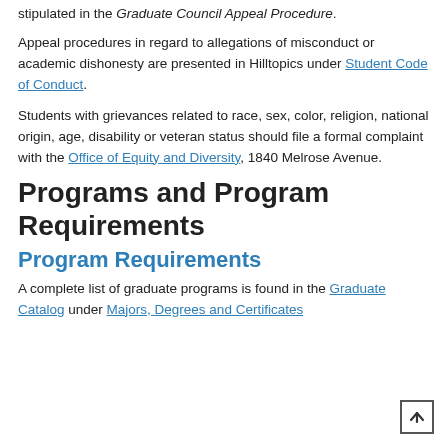stipulated in the Graduate Council Appeal Procedure.
Appeal procedures in regard to allegations of misconduct or academic dishonesty are presented in Hilltopics under Student Code of Conduct.
Students with grievances related to race, sex, color, religion, national origin, age, disability or veteran status should file a formal complaint with the Office of Equity and Diversity, 1840 Melrose Avenue.
Programs and Program Requirements
Program Requirements
A complete list of graduate programs is found in the Graduate Catalog under Majors, Degrees and Certificates